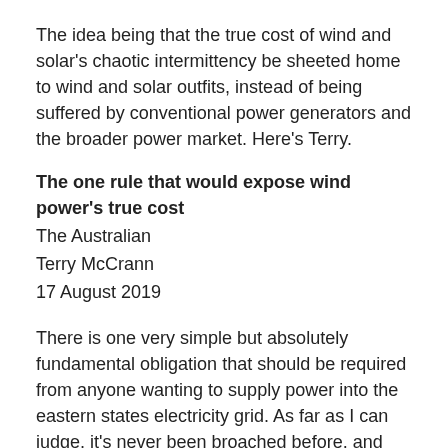The idea being that the true cost of wind and solar's chaotic intermittency be sheeted home to wind and solar outfits, instead of being suffered by conventional power generators and the broader power market. Here's Terry.
The one rule that would expose wind power's true cost
The Australian
Terry McCrann
17 August 2019
There is one very simple but absolutely fundamental obligation that should be required from anyone wanting to supply power into the eastern states electricity grid. As far as I can judge, it's never been broached before, and certainly not at the level of any serious policy discussion.
If adopted, it would immediately end the torment...